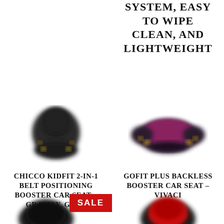SYSTEM, EASY TO WIPE CLEAN, AND LIGHTWEIGHT
[Figure (photo): Chicco KidFit 2-in-1 Belt Positioning Booster Car Seat in Gravity Grey color - product photo showing dark grey car booster seat]
[Figure (photo): Gofit Plus Backless Booster Car Seat in Vivaci color - product photo showing pink/purple backless booster seat]
CHICCO KIDFIT 2-IN-1 BELT POSITIONING BOOSTER CAR SEAT - GRAVITY, GREY
GOFIT PLUS BACKLESS BOOSTER CAR SEAT - VIVACI
[Figure (photo): Partially visible car seat product at bottom left with SALE badge]
SALE
[Figure (photo): Partially visible car seat product at bottom right with red color]